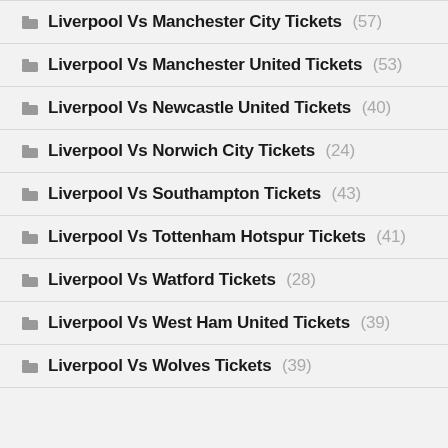Liverpool Vs Manchester City Tickets (57)
Liverpool Vs Manchester United Tickets (53)
Liverpool Vs Newcastle United Tickets (40)
Liverpool Vs Norwich City Tickets (24)
Liverpool Vs Southampton Tickets (43)
Liverpool Vs Tottenham Hotspur Tickets (41)
Liverpool Vs Watford Tickets (28)
Liverpool Vs West Ham United Tickets (39)
Liverpool Vs Wolves Tickets (39)